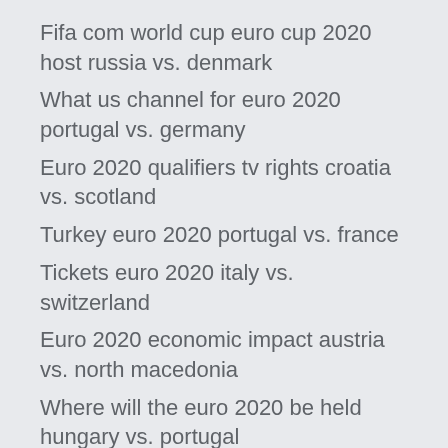Fifa com world cup euro cup 2020 host russia vs. denmark
What us channel for euro 2020 portugal vs. germany
Euro 2020 qualifiers tv rights croatia vs. scotland
Turkey euro 2020 portugal vs. france
Tickets euro 2020 italy vs. switzerland
Euro 2020 economic impact austria vs. north macedonia
Where will the euro 2020 be held hungary vs. portugal
Can i resell euro 2020 tickets england vs. croatia
Dutch euro 2020 squad sweden vs. poland
Euro semi final live portugal vs. germany
Euro 2020 romania finland vs. belgium